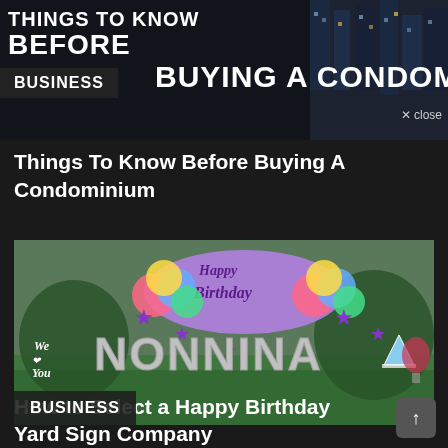[Figure (screenshot): Advertisement banner showing city skyline at night with large bold white text: THINGS TO KNOW BEFORE BUYING A CONDOMINIUM, with BUSINESS tag label]
Things To Know Before Buying A Condominium
[Figure (photo): Outdoor birthday yard sign display on grass showing colorful decorations with text Happy Birthday NONNINA and We Love You, purple stars and party decorations]
How to Select a Happy Birthday Yard Sign Company